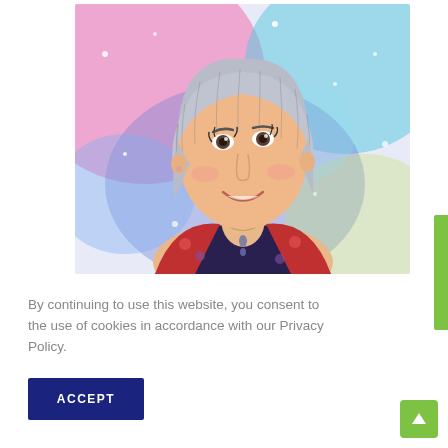[Figure (illustration): Illustrated portrait of a smiling woman with short silver/grey hair, wearing a floral red and dark jacket with a necklace, against a vibrant multicolored watercolor background (pink, blue, teal, yellow).]
By continuing to use this website, you consent to the use of cookies in accordance with our Privacy Policy.
ACCEPT